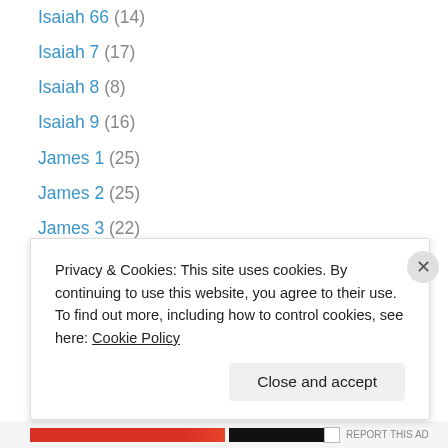Isaiah 66 (14)
Isaiah 7 (17)
Isaiah 8 (8)
Isaiah 9 (16)
James 1 (25)
James 2 (25)
James 3 (22)
James 4 (20)
James 5 (15)
Jeremiah 1 (17)
Jeremiah 10 (9)
Jeremiah 11 (9)
Jeremiah 13 (7)
Privacy & Cookies: This site uses cookies. By continuing to use this website, you agree to their use.
To find out more, including how to control cookies, see here: Cookie Policy
REPORT THIS AD